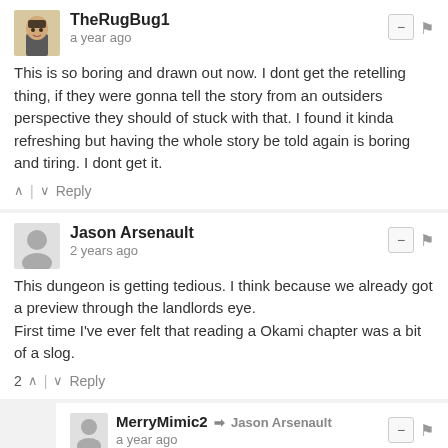TheRugBug1
a year ago
This is so boring and drawn out now. I dont get the retelling thing, if they were gonna tell the story from an outsiders perspective they should of stuck with that. I found it kinda refreshing but having the whole story be told again is boring and tiring. I dont get it.
Jason Arsenault
2 years ago
This dungeon is getting tedious. I think because we already got a preview through the landlords eye.
First time I've ever felt that reading a Okami chapter was a bit of a slog.
MerryMimic2 → Jason Arsenault
a year ago
i think it would have been better if they were mixed but oh well